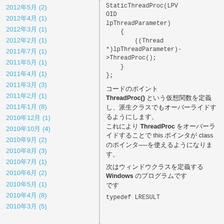2012年5月 (2)
2012年4月 (1)
2012年3月 (1)
2012年2月 (1)
2011年7月 (1)
2011年5月 (1)
2011年4月 (1)
2011年3月 (3)
2011年2月 (1)
2011年1月 (8)
2010年12月 (1)
2010年10月 (4)
2010年9月 (2)
2010年8月 (3)
2010年7月 (1)
2010年6月 (2)
2010年5月 (1)
2010年4月 (8)
2010年3月 (5)
StaticThreadProc(LPVOID lpThreadParameter)
    {
        ((Thread *)lpThreadParameter)->ThreadProc();
    }
};
コードのポイント
ThreadProc() という仮想関数を定義し、派生クラスで ThreadProc をオーバーライドすることで this ポインタが class のポインタ──を使えるようになります。
次はウィンドウクラスを定義する Windows のプログラムです
typedef LRESULT